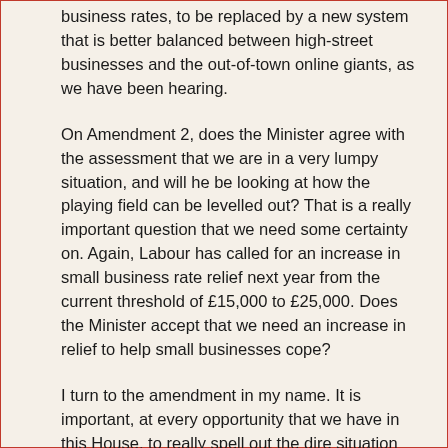business rates, to be replaced by a new system that is better balanced between high-street businesses and the out-of-town online giants, as we have been hearing.
On Amendment 2, does the Minister agree with the assessment that we are in a very lumpy situation, and will he be looking at how the playing field can be levelled out? That is a really important question that we need some certainty on. Again, Labour has called for an increase in small business rate relief next year from the current threshold of £15,000 to £25,000. Does the Minister accept that we need an increase in relief to help small businesses cope?
I turn to the amendment in my name. It is important, at every opportunity that we have in this House, to really spell out the dire situation facing businesses, particularly regarding the...